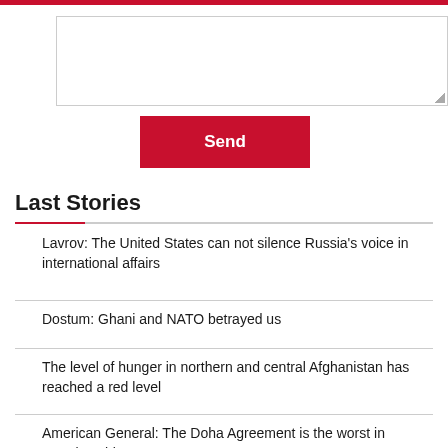[Figure (other): Text area input box with resize handle]
Send
Last Stories
Lavrov: The United States can not silence Russia's voice in international affairs
Dostum: Ghani and NATO betrayed us
The level of hunger in northern and central Afghanistan has reached a red level
American General: The Doha Agreement is the worst in American history